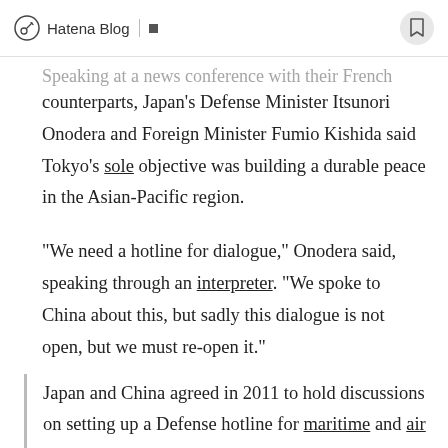Hatena Blog
Speaking at a news conference with their French counterparts, Japan's Defense Minister Itsunori Onodera and Foreign Minister Fumio Kishida said Tokyo's sole objective was building a durable peace in the Asian-Pacific region.
"We need a hotline for dialogue," Onodera said, speaking through an interpreter. "We spoke to China about this, but sadly this dialogue is not open, but we must re-open it."
Japan and China agreed in 2011 to hold discussions on setting up a Defense hotline for maritime and air emergencies.